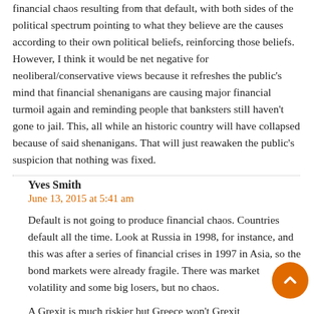financial chaos resulting from that default, with both sides of the political spectrum pointing to what they believe are the causes according to their own political beliefs, reinforcing those beliefs. However, I think it would be net negative for neoliberal/conservative views because it refreshes the public's mind that financial shenanigans are causing major financial turmoil again and reminding people that banksters still haven't gone to jail. This, all while an historic country will have collapsed because of said shenanigans. That will just reawaken the public's suspicion that nothing was fixed.
Yves Smith
June 13, 2015 at 5:41 am
Default is not going to produce financial chaos. Countries default all the time. Look at Russia in 1998, for instance, and this was after a series of financial crises in 1997 in Asia, so the bond markets were already fragile. There was market volatility and some big losers, but no chaos.
A Grexit is much riskier but Greece won't Grexit